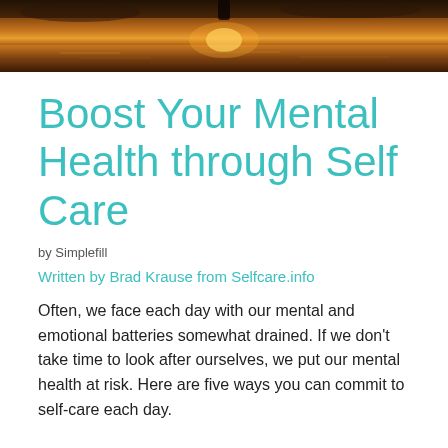[Figure (photo): Sunset or sunrise over water with a silhouette, warm golden and dark brown tones, banner/header image]
Boost Your Mental Health through Self Care
by Simplefill
Written by Brad Krause from Selfcare.info
Often, we face each day with our mental and emotional batteries somewhat drained. If we don't take time to look after ourselves, we put our mental health at risk. Here are five ways you can commit to self-care each day.